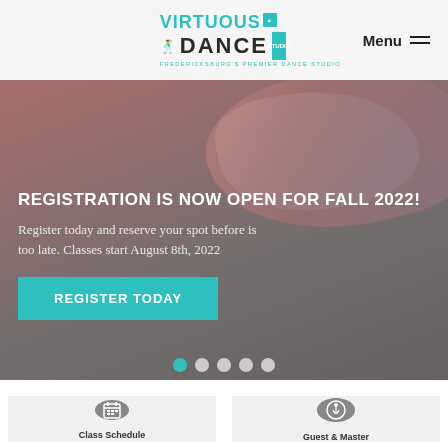[Figure (logo): Virtuous Dance Studio logo with teal text]
REGISTRATION IS NOW OPEN FOR FALL 2022!
Register today and reserve your spot before is too late. Classes start August 8th, 2022
REGISTER TODAY
[Figure (illustration): Two cards: Class Schedule with calendar icon, Guest & Master with dancer icon]